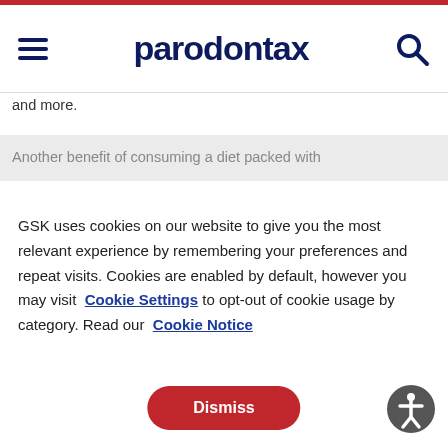[Figure (screenshot): Parodontax website header with hamburger menu icon on left, parodontax logo in center, and search icon on right, with red top bar]
and more.
Another benefit of consuming a diet packed with
GSK uses cookies on our website to give you the most relevant experience by remembering your preferences and repeat visits. Cookies are enabled by default, however you may visit Cookie Settings to opt-out of cookie usage by category. Read our Cookie Notice
Dismiss